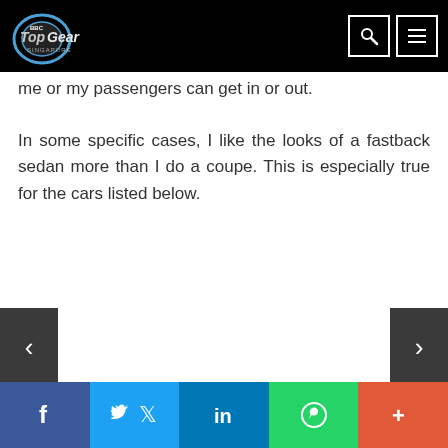BBC Top Gear Singapore - navigation header with logo and search/menu icons
me or my passengers can get in or out.
In some specific cases, I like the looks of a fastback sedan more than I do a coupe. This is especially true for the cars listed below.
[Figure (other): Slideshow navigation left arrow button (dark grey background)]
[Figure (other): Slideshow navigation right arrow button (dark grey background)]
Social sharing bar: Facebook, Twitter, LinkedIn, WhatsApp, More